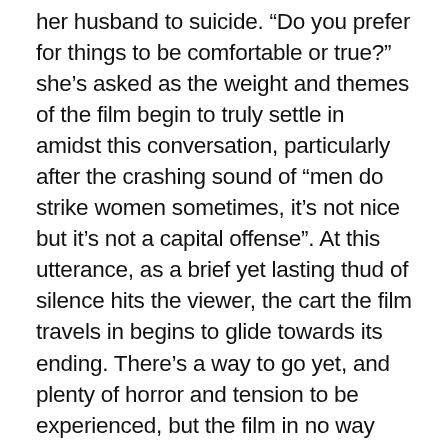her husband to suicide. “Do you prefer for things to be comfortable or true?” she’s asked as the weight and themes of the film begin to truly settle in amidst this conversation, particularly after the crashing sound of “men do strike women sometimes, it’s not nice but it’s not a capital offense”. At this utterance, as a brief yet lasting thud of silence hits the viewer, the cart the film travels in begins to glide towards its ending. There’s a way to go yet, and plenty of horror and tension to be experienced, but the film in no way feels 100 minutes long.
Amongst the more natural tension and fear throughout the film at the creepy comments and actions of the figures shown, all helped by Kinnear’s excellent central performance and Buckley’s clear terror and pain, the more fantastical elements that are introduced never